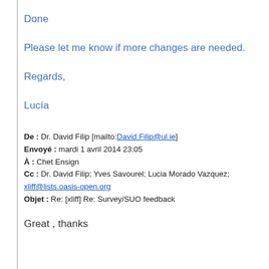Done
Please let me know if more changes are needed.
Regards,
Lucía
De : Dr. David Filip [mailto:David.Filip@ul.ie]
Envoyé : mardi 1 avril 2014 23:05
À : Chet Ensign
Cc : Dr. David Filip; Yves Savourel; Lucia Morado Vazquez; xliff@lists.oasis-open.org
Objet : Re: [xliff] Re: Survey/SUO feedback
Great , thanks